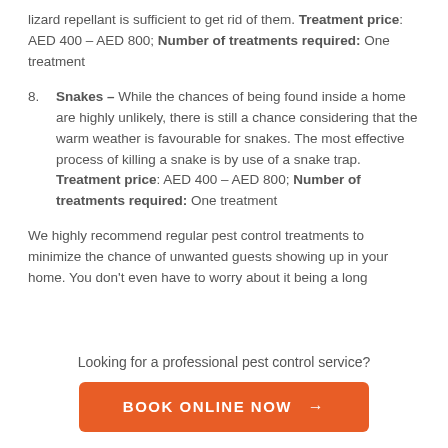lizard repellant is sufficient to get rid of them. Treatment price: AED 400 – AED 800; Number of treatments required: One treatment
8. Snakes – While the chances of being found inside a home are highly unlikely, there is still a chance considering that the warm weather is favourable for snakes. The most effective process of killing a snake is by use of a snake trap. Treatment price: AED 400 – AED 800; Number of treatments required: One treatment
We highly recommend regular pest control treatments to minimize the chance of unwanted guests showing up in your home. You don't even have to worry about it being a long...
Looking for a professional pest control service?
BOOK ONLINE NOW →